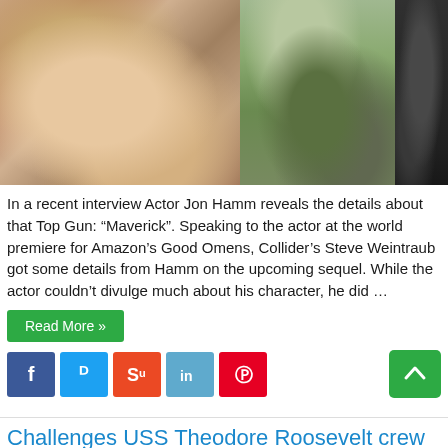[Figure (photo): Three photos side by side: left shows a bearded man in a suit smiling at what appears to be a premiere/event; middle shows a person in military flight suit gear standing; right shows a dark close-up image.]
In a recent interview Actor Jon Hamm reveals the details about that Top Gun: “Maverick”. Speaking to the actor at the world premiere for Amazon’s Good Omens, Collider’s Steve Weintraub got some details from Hamm on the upcoming sequel. While the actor couldn’t divulge much about his character, he did …
Read More »
[Figure (other): Social media share buttons: Facebook (blue), Twitter (light blue), StumbleUpon (orange-red), LinkedIn (light blue), Pinterest (red)]
Challenges USS Theodore Roosevelt crew faced